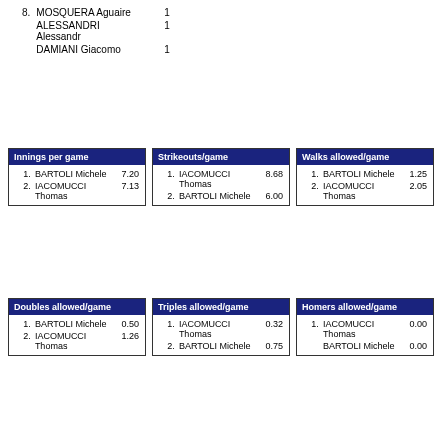8. MOSQUERA Aguaire   1
ALESSANDRI Alessandr   1
DAMIANI Giacomo   1
| Innings per game |  |  |
| --- | --- | --- |
| 1. | BARTOLI Michele | 7.20 |
| 2. | IACOMUCCI Thomas | 7.13 |
| Strikeouts/game |  |  |
| --- | --- | --- |
| 1. | IACOMUCCI Thomas | 8.68 |
| 2. | BARTOLI Michele | 6.00 |
| Walks allowed/game |  |  |
| --- | --- | --- |
| 1. | BARTOLI Michele | 1.25 |
| 2. | IACOMUCCI Thomas | 2.05 |
| Doubles allowed/game |  |  |
| --- | --- | --- |
| 1. | BARTOLI Michele | 0.50 |
| 2. | IACOMUCCI Thomas | 1.26 |
| Triples allowed/game |  |  |
| --- | --- | --- |
| 1. | IACOMUCCI Thomas | 0.32 |
| 2. | BARTOLI Michele | 0.75 |
| Homers allowed/game |  |  |
| --- | --- | --- |
| 1. | IACOMUCCI Thomas | 0.00 |
|  | BARTOLI Michele | 0.00 |